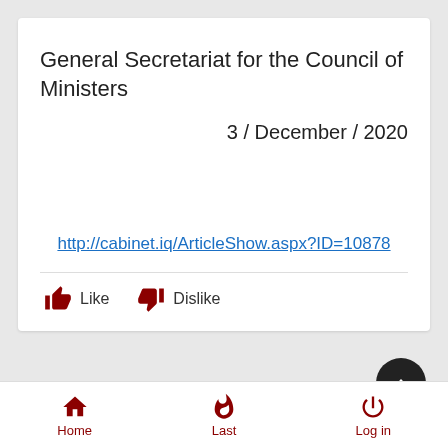General Secretariat for the Council of Ministers
3 / December / 2020
http://cabinet.iq/ArticleShow.aspx?ID=10878
Like  Dislike
Similar topics
Home  Last  Log in